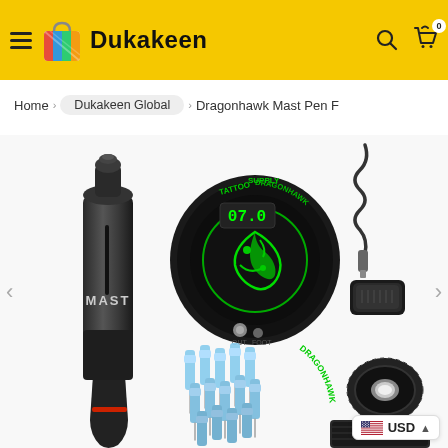Dukakeen
Home > Dukakeen Global > Dragonhawk Mast Pen F
[Figure (photo): Product photo of a Dragonhawk Mast Pen tattoo kit including: a black Mast pen tattoo machine, a circular Dragonhawk Tattoo Supply power supply with green digital display showing 07.0, a foot pedal with cord, multiple blue cartridge needles, a roll of black wrap tape, and a dark practice skin pad.]